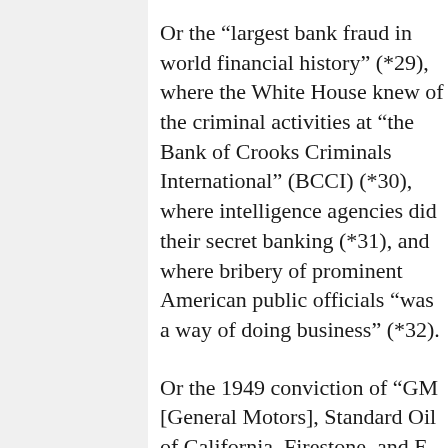Or the “largest bank fraud in world financial history” (*29), where the White House knew of the criminal activities at “the Bank of Crooks Criminals International” (BCCI) (*30), where intelligence agencies did their secret banking (*31), and where bribery of prominent American public officials “was a way of doing business” (*32).
Or the 1949 conviction of “GM [General Motors], Standard Oil of California, Firestone, and E. R. Fitzgerald, among others, for criminally conspiring to replace electric transportation with gas- and diesel-powered buses and to monopolize the sale of buses and related